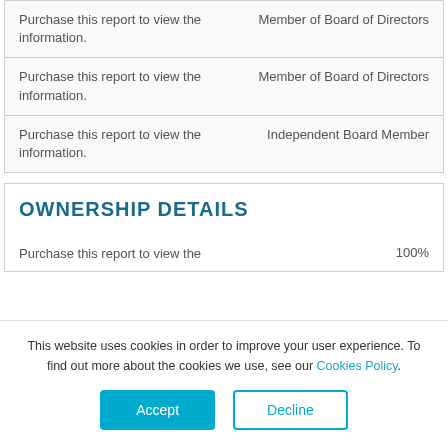| Name/Info | Role |
| --- | --- |
| Purchase this report to view the information. | Member of Board of Directors |
| Purchase this report to view the information. | Member of Board of Directors |
| Purchase this report to view the information. | Independent Board Member |
OWNERSHIP DETAILS
| Name/Info | Ownership |
| --- | --- |
| Purchase this report to view the | 100% |
This website uses cookies in order to improve your user experience. To find out more about the cookies we use, see our Cookies Policy.